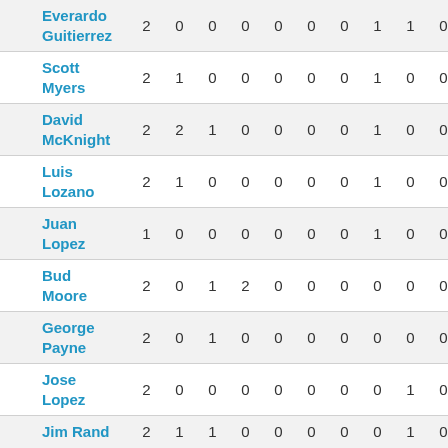|  | Name | Col1 | Col2 | Col3 | Col4 | Col5 | Col6 | Col7 | Col8 | Col9 | Col10 |
| --- | --- | --- | --- | --- | --- | --- | --- | --- | --- | --- | --- |
|  | Everardo Guitierrez | 2 | 0 | 0 | 0 | 0 | 0 | 0 | 1 | 1 | 0 |
|  | Scott Myers | 2 | 1 | 0 | 0 | 0 | 0 | 0 | 1 | 0 | 0 |
|  | David McKnight | 2 | 2 | 1 | 0 | 0 | 0 | 0 | 1 | 0 | 0 |
|  | Luis Lozano | 2 | 1 | 0 | 0 | 0 | 0 | 0 | 1 | 0 | 0 |
|  | Juan Lopez | 1 | 0 | 0 | 0 | 0 | 0 | 0 | 1 | 0 | 0 |
|  | Bud Moore | 2 | 0 | 1 | 2 | 0 | 0 | 0 | 0 | 0 | 0 |
|  | George Payne | 2 | 0 | 1 | 0 | 0 | 0 | 0 | 0 | 0 | 0 |
|  | Jose Lopez | 2 | 0 | 0 | 0 | 0 | 0 | 0 | 0 | 1 | 0 |
|  | Jim Rand | 2 | 1 | 1 | 0 | 0 | 0 | 0 | 0 | 1 | 0 |